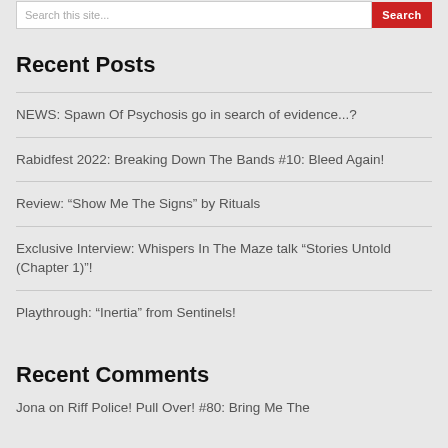Search this site... Search
Recent Posts
NEWS: Spawn Of Psychosis go in search of evidence...?
Rabidfest 2022: Breaking Down The Bands #10: Bleed Again!
Review: "Show Me The Signs" by Rituals
Exclusive Interview: Whispers In The Maze talk "Stories Untold (Chapter 1)"!
Playthrough: "Inertia" from Sentinels!
Recent Comments
Jona on Riff Police! Pull Over! #80: Bring Me The